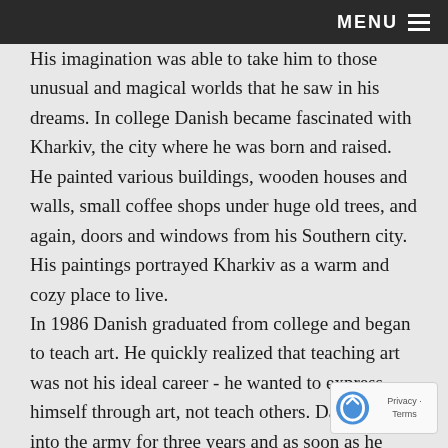MENU ☰
His imagination was able to take him to those unusual and magical worlds that he saw in his dreams. In college Danish became fascinated with Kharkiv, the city where he was born and raised. He painted various buildings, wooden houses and walls, small coffee shops under huge old trees, and again, doors and windows from his Southern city. His paintings portrayed Kharkiv as a warm and cozy place to live.
In 1986 Danish graduated from college and began to teach art. He quickly realized that teaching art was not his ideal career - he wanted to express himself through art, not teach others. Danish went into the army for three years and as soon as he returned, he immediately entered into the department of Fine Art at the Kharkiv States Polytechnic University. He began to paint for a living. After two years became a member of the prestigious Union of Ukrainian